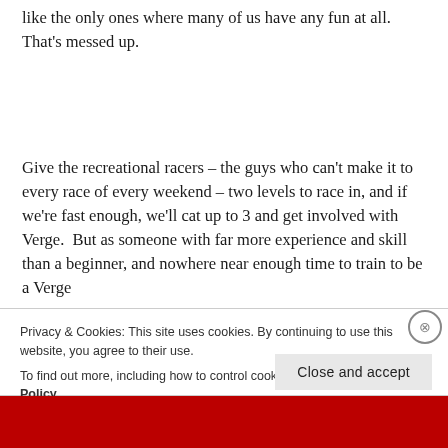like the only ones where many of us have any fun at all.  That's messed up.
Give the recreational racers – the guys who can't make it to every race of every weekend – two levels to race in, and if we're fast enough, we'll cat up to 3 and get involved with Verge.  But as someone with far more experience and skill than a beginner, and nowhere near enough time to train to be a Verge
Privacy & Cookies: This site uses cookies. By continuing to use this website, you agree to their use.
To find out more, including how to control cookies, see here: Cookie Policy
Close and accept